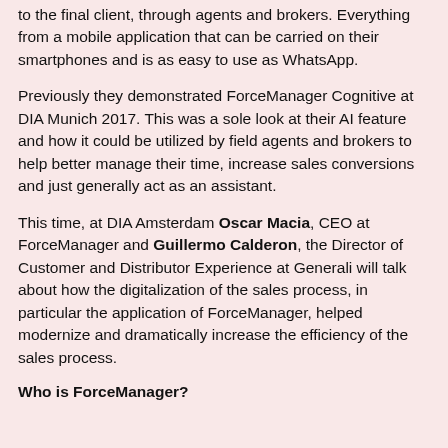to the final client, through agents and brokers. Everything from a mobile application that can be carried on their smartphones and is as easy to use as WhatsApp.
Previously they demonstrated ForceManager Cognitive at DIA Munich 2017. This was a sole look at their AI feature and how it could be utilized by field agents and brokers to help better manage their time, increase sales conversions and just generally act as an assistant.
This time, at DIA Amsterdam Oscar Macia, CEO at ForceManager and Guillermo Calderon, the Director of Customer and Distributor Experience at Generali will talk about how the digitalization of the sales process, in particular the application of ForceManager, helped modernize and dramatically increase the efficiency of the sales process.
Who is ForceManager?